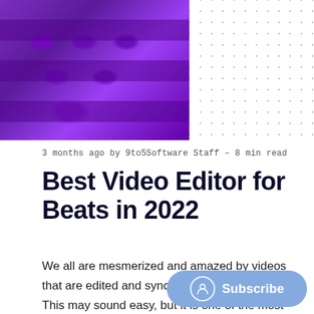[Figure (photo): Close-up photo of a purple/violet music production keyboard/synthesizer pad with keys visible, overlaid with a dot pattern on the right side]
3 months ago by 9to5Software Staff — 8 min read
Best Video Editor for Beats in 2022
We all are mesmerized and amazed by videos that are edited and synced with music beats. This may sound easy, but it is one of the most complicated and time-consuming video editing tasks. You will need skills and precision to use music be... advantage to capture your audience.